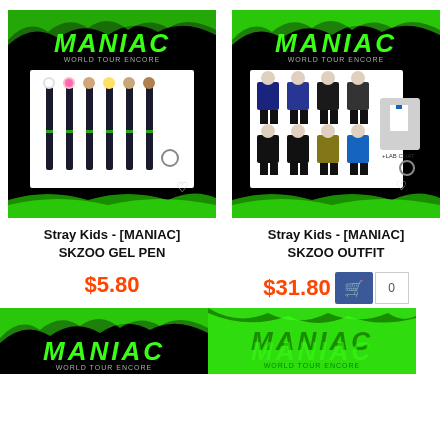[Figure (photo): Stray Kids MANIAC SKZOO GEL PEN product image - black background with MANIAC logo in green, showing multiple gel pens with character toppers]
Stray Kids - [MANIAC] SKZOO GEL PEN
$5.80
[Figure (photo): Stray Kids MANIAC SKZOO OUTFIT product image - black background with MANIAC logo in green, showing miniature outfit keychains including lab coat]
Stray Kids - [MANIAC] SKZOO OUTFIT
$31.80
[Figure (photo): Stray Kids MANIAC product - bottom partial image with black background and MANIAC logo in green]
[Figure (photo): Stray Kids MANIAC product - bottom partial image with green flame background and MANIAC logo]